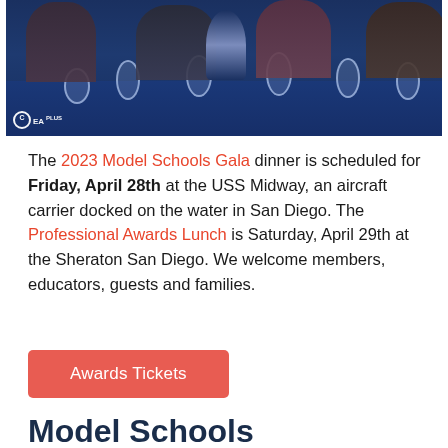[Figure (photo): Group of people seated at a banquet table with blue tablecloth, glasses and centerpiece visible. Watermark shows 'CEAPLUS' logo in bottom left.]
The 2023 Model Schools Gala dinner is scheduled for Friday, April 28th at the USS Midway, an aircraft carrier docked on the water in San Diego. The Professional Awards Lunch is Saturday, April 29th at the Sheraton San Diego. We welcome members, educators, guests and families.
Awards Tickets
Model Schools